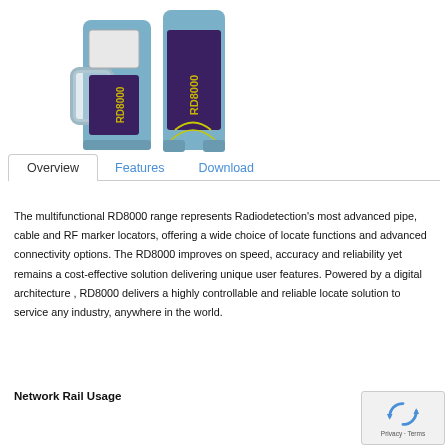[Figure (photo): Two RD8000 pipe and cable locator devices shown side by side, blue colored handheld units with branded markings]
Overview	Features	Download
The multifunctional RD8000 range represents Radiodetection's most advanced pipe, cable and RF marker locators, offering a wide choice of locate functions and advanced connectivity options. The RD8000 improves on speed, accuracy and reliability yet remains a cost-effective solution delivering unique user features. Powered by a digital architecture , RD8000 delivers a highly controllable and reliable locate solution to service any industry, anywhere in the world.
Network Rail Usage